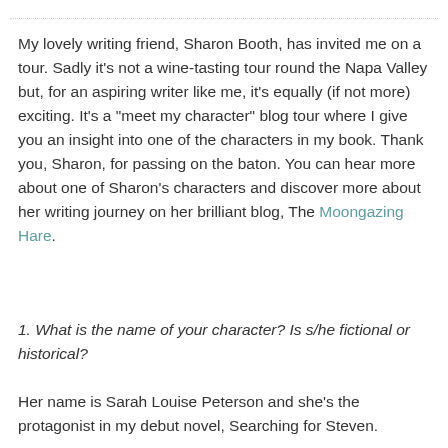My lovely writing friend, Sharon Booth, has invited me on a tour. Sadly it's not a wine-tasting tour round the Napa Valley but, for an aspiring writer like me, it's equally (if not more) exciting. It's a "meet my character" blog tour where I give you an insight into one of the characters in my book. Thank you, Sharon, for passing on the baton. You can hear more about one of Sharon's characters and discover more about her writing journey on her brilliant blog, The Moongazing Hare.
1. What is the name of your character? Is s/he fictional or historical?
Her name is Sarah Louise Peterson and she's the protagonist in my debut novel, Searching for Steven.